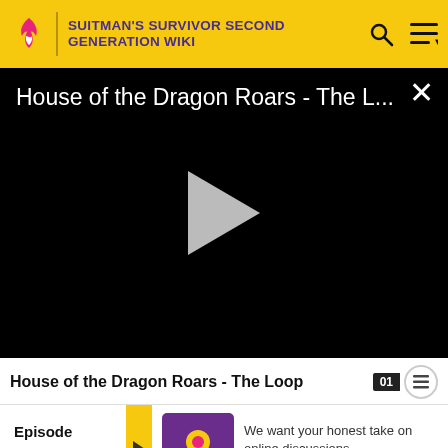SUITMAN'S SURVIVOR SECOND GENERATION WIKI
[Figure (screenshot): Video player with black background showing title 'House of the Dragon Roars - The L...' with a play button triangle in the center and an X close button in the top right]
House of the Dragon Roars - The Loop
Episode
We want your honest take on online discussions
SURVEY: ONLINE FORUMS